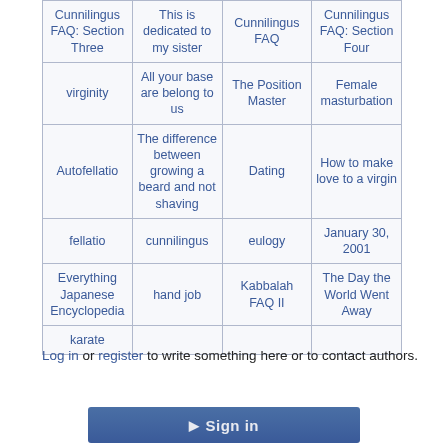| Cunnilingus FAQ: Section Three | This is dedicated to my sister | Cunnilingus FAQ | Cunnilingus FAQ: Section Four |
| virginity | All your base are belong to us | The Position Master | Female masturbation |
| Autofellatio | The difference between growing a beard and not shaving | Dating | How to make love to a virgin |
| fellatio | cunnilingus | eulogy | January 30, 2001 |
| Everything Japanese Encyclopedia | hand job | Kabbalah FAQ II | The Day the World Went Away |
| karate |  |  |  |
Log in or register to write something here or to contact authors.